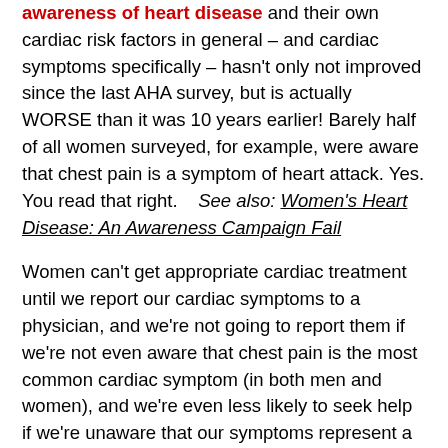awareness of heart disease and their own cardiac risk factors in general – and cardiac symptoms specifically – hasn't only not improved since the last AHA survey, but is actually WORSE than it was 10 years earlier!  Barely half of all women surveyed, for example, were aware that chest pain is a symptom of heart attack.  Yes. You read that right.    See also: Women's Heart Disease: An Awareness Campaign Fail
Women can't get appropriate cardiac treatment until we report our cardiac symptoms to a physician, and we're not going to report them if we're not even aware that chest pain is the most common cardiac symptom (in both men and women), and we're even less likely to seek help if we're unaware that our symptoms represent a cardiac risk.
I've been writing about Dr. Kreatsoulas and her cardiac